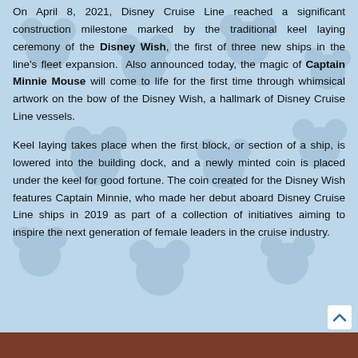On April 8, 2021, Disney Cruise Line reached a significant construction milestone marked by the traditional keel laying ceremony of the Disney Wish, the first of three new ships in the line's fleet expansion.  Also announced today, the magic of Captain Minnie Mouse will come to life for the first time through whimsical artwork on the bow of the Disney Wish, a hallmark of Disney Cruise Line vessels.
Keel laying takes place when the first block, or section of a ship, is lowered into the building dock, and a newly minted coin is placed under the keel for good fortune. The coin created for the Disney Wish features Captain Minnie, who made her debut aboard Disney Cruise Line ships in 2019 as part of a collection of initiatives aiming to inspire the next generation of female leaders in the cruise industry.
[Figure (photo): Bottom strip showing a partial photo, appears to be a reddish-brown colored scene, possibly related to the Disney Wish keel laying ceremony.]